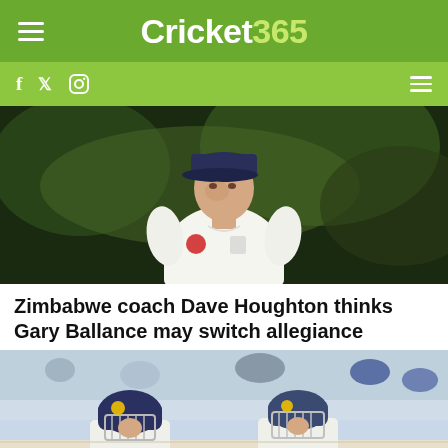Cricket365
[Figure (photo): Cricketer in white England kit wearing a navy blue cap, looking to the side, outdoors with green background]
Zimbabwe coach Dave Houghton thinks Gary Ballance may switch allegiance
[Figure (photo): Two England cricketers in batting helmets and white kit walking on the field]